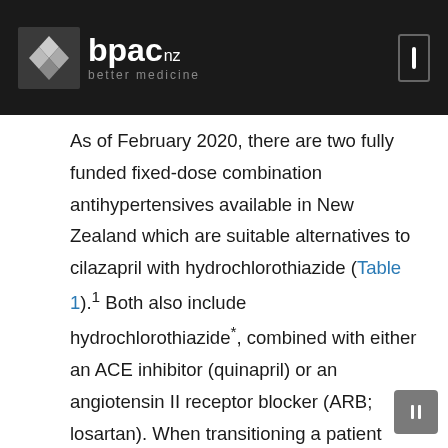bpac nz better medicine
As of February 2020, there are two fully funded fixed-dose combination antihypertensives available in New Zealand which are suitable alternatives to cilazapril with hydrochlorothiazide (Table 1).¹ Both also include hydrochlorothiazide*, combined with either an ACE inhibitor (quinapril) or an angiotensin II receptor blocker (ARB; losartan). When transitioning a patient from one fixed-dose combination to another, it is recommended that their blood pressure is checked one month after switching, and then at least once every three to six months after blood pressure targets have been achieved, depending on the patients characteristics and level of cardiovascular disease (CVD) risk.³